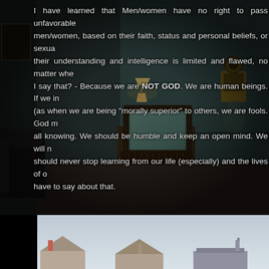[Figure (photo): Dark, dimly lit vintage room interior with an old television set on a cabinet, a table lamp, a wall-mounted rotary telephone, leather chair, and worn textured walls with a faint animal figure painted on the right wall.]
I have learned that Men/women have no right to pass unfavorable men/women, based on their faith, status and personal beliefs, or sexua their understanding and intelligence is limited and flawed, no matter whe I say that? - Because we are NOT GOD. We are human beings. If we in (as when we are being "morally superior" to others, we are fools. God m all knowing. We should be humble and keep an open mind. We will n should never stop learning from our life (especially) and the lives of o have to say about that.
[Figure (photo): Overcast sky with rooftops of houses visible at the bottom, showing chimneys against a pale grey sky.]